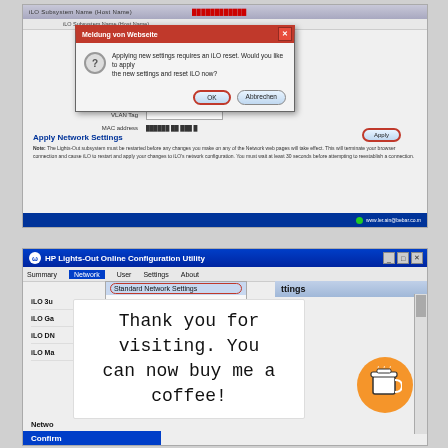[Figure (screenshot): HP iLO web interface with a German dialog box 'Meldung von Webseite' asking whether to apply iLO reset settings. Dialog has OK and Abbrechen buttons. Below shows iLO Network Settings form with VLAN Tag and MAC address fields, and Apply Network Settings section.]
[Figure (screenshot): HP Lights-Out Online Configuration Utility window showing Network menu open with 'Standard Network Settings' highlighted in red oval and 'Advanced Network Settings' below. A white overlay callout reads 'Thank you for visiting. You can now buy me a coffee!' with an orange coffee cup icon.]